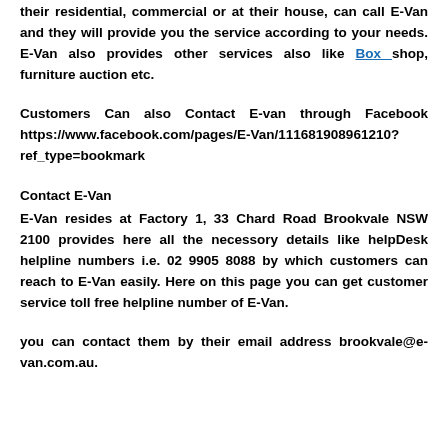their residential, commercial or at their house, can call E-Van and they will provide you the service according to your needs. E-Van also provides other services also like Box shop, furniture auction etc.
Customers Can also Contact E-van through Facebook https://www.facebook.com/pages/E-Van/111681908961210?ref_type=bookmark
Contact E-Van
E-Van resides at Factory 1, 33 Chard Road Brookvale NSW 2100 provides here all the necessory details like helpDesk helpline numbers i.e. 02 9905 8088 by which customers can reach to E-Van easily. Here on this page you can get customer service toll free helpline number of E-Van.
you can contact them by their email address brookvale@e-van.com.au.